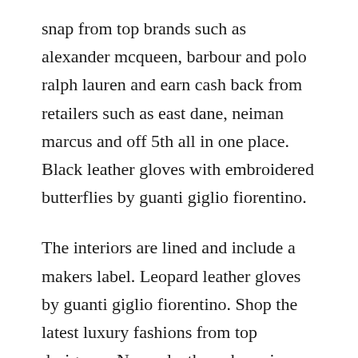snap from top brands such as alexander mcqueen, barbour and polo ralph lauren and earn cash back from retailers such as east dane, neiman marcus and off 5th all in one place. Black leather gloves with embroidered butterflies by guanti giglio fiorentino.
The interiors are lined and include a makers label. Leopard leather gloves by guanti giglio fiorentino. Shop the latest luxury fashions from top designers. Nappa leather, chamois, deer, pecary, capybara and fine leathers.
For more than 50...